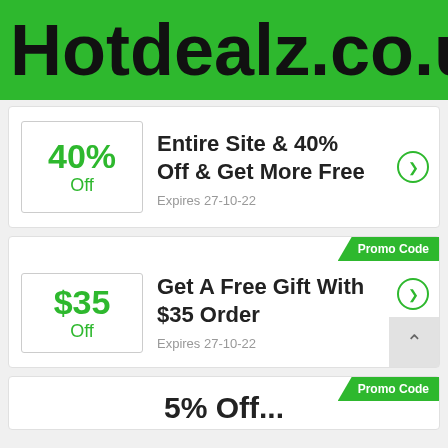Hotdealz.co.uk
40% Off — Entire Site & 40% Off & Get More Free — Expires 27-10-22
Promo Code — $35 Off — Get A Free Gift With $35 Order — Expires 27-10-22
Promo Code — 5% Off...